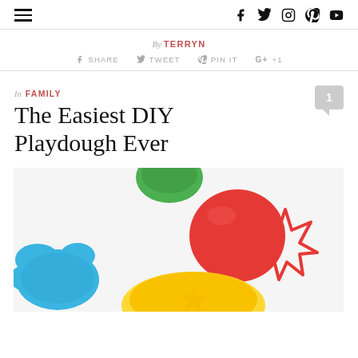Navigation bar with hamburger menu and social icons (Facebook, Twitter, Instagram, Pinterest, YouTube)
By TERRYN
f SHARE  TWEET  PIN IT  G+ +1
In FAMILY
The Easiest DIY Playdough Ever
[Figure (photo): Photo of colorful DIY playdough balls (red, green, yellow) and a blue playdough shape, with a red cookie cutter on a white surface.]